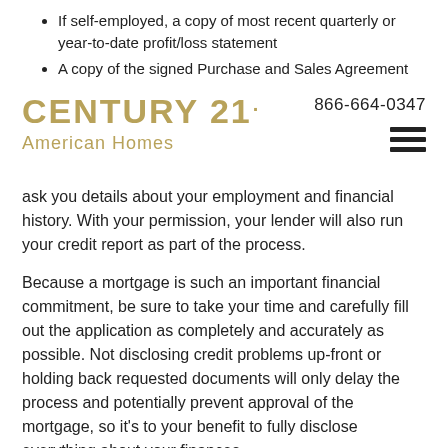If self-employed, a copy of most recent quarterly or year-to-date profit/loss statement
A copy of the signed Purchase and Sales Agreement
[Figure (logo): CENTURY 21 American Homes logo in gold/tan color with phone number 866-664-0347 and hamburger menu icon]
ask you details about your employment and financial history. With your permission, your lender will also run your credit report as part of the process.
Because a mortgage is such an important financial commitment, be sure to take your time and carefully fill out the application as completely and accurately as possible. Not disclosing credit problems up-front or holding back requested documents will only delay the process and potentially prevent approval of the mortgage, so it's to your benefit to fully disclose everything about your finances.